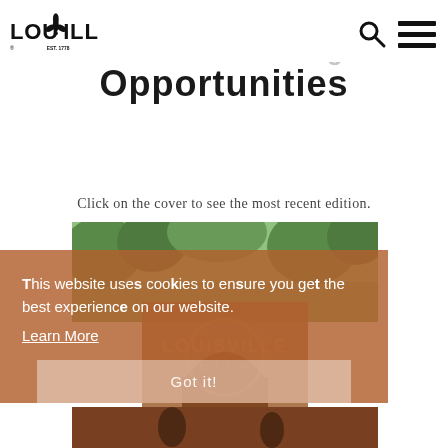Louisville logo and navigation icons
2023 Official Visitor Guide Advertising Opportunities
Click on the cover to see the most recent edition.
[Figure (photo): Outdoor photo showing Louisville sign/monument with trees and warm-toned stonework, with people in the lower portion]
This website uses cookies to ensure you get the best experience on our website.
Learn More
Got it!